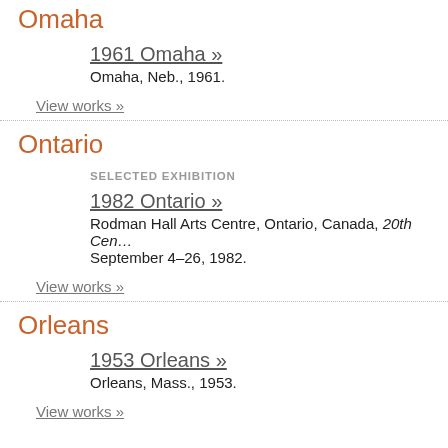Omaha
1961 Omaha »
Omaha, Neb., 1961.
View works »
Ontario
SELECTED EXHIBITION
1982 Ontario »
Rodman Hall Arts Centre, Ontario, Canada, 20th Cen… September 4–26, 1982.
View works »
Orleans
1953 Orleans »
Orleans, Mass., 1953.
View works »